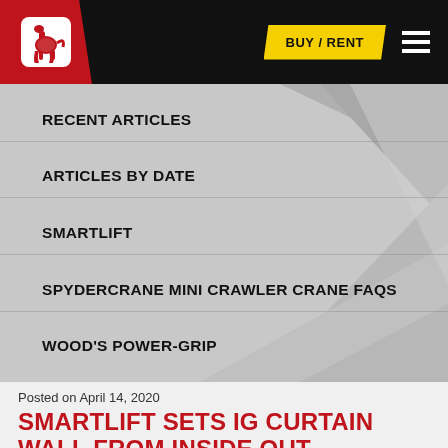[Figure (logo): Company logo with white horse/crane icon on red background in navigation bar]
BUY / RENT
RECENT ARTICLES
ARTICLES BY DATE
SMARTLIFT
SPYDERCRANE MINI CRAWLER CRANE FAQS
WOOD'S POWER-GRIP
Posted on April 14, 2020
SMARTLIFT SETS IG CURTAIN WALL FROM INSIDE OUT